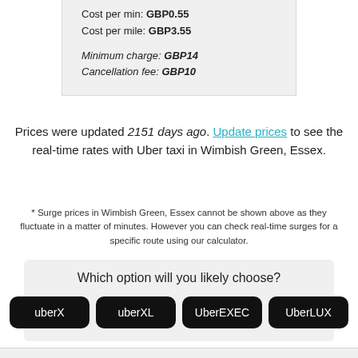Cost per min: GBP0.55
Cost per mile: GBP3.55
Minimum charge: GBP14
Cancellation fee: GBP10
Prices were updated 2151 days ago. Update prices to see the real-time rates with Uber taxi in Wimbish Green, Essex.
* Surge prices in Wimbish Green, Essex cannot be shown above as they fluctuate in a matter of minutes. However you can check real-time surges for a specific route using our calculator.
Which option will you likely choose?
uberX
uberXL
UberEXEC
UberLUX